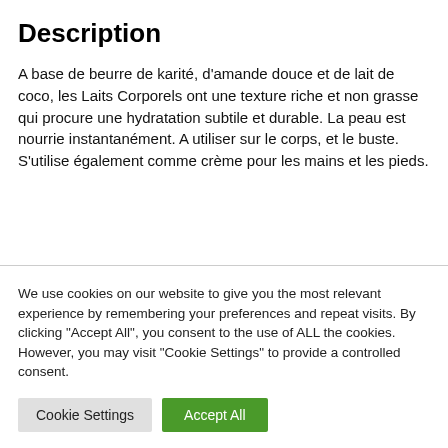Description
A base de beurre de karité, d'amande douce et de lait de coco, les Laits Corporels ont une texture riche et non grasse qui procure une hydratation subtile et durable. La peau est nourrie instantanément. A utiliser sur le corps, et le buste. S'utilise également comme crème pour les mains et les pieds.
We use cookies on our website to give you the most relevant experience by remembering your preferences and repeat visits. By clicking "Accept All", you consent to the use of ALL the cookies. However, you may visit "Cookie Settings" to provide a controlled consent.